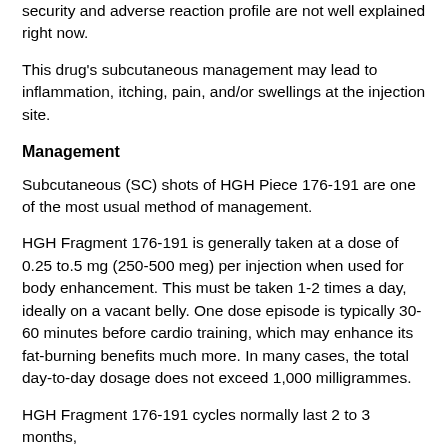security and adverse reaction profile are not well explained right now.
This drug's subcutaneous management may lead to inflammation, itching, pain, and/or swellings at the injection site.
Management
Subcutaneous (SC) shots of HGH Piece 176-191 are one of the most usual method of management.
HGH Fragment 176-191 is generally taken at a dose of 0.25 to.5 mg (250-500 meg) per injection when used for body enhancement. This must be taken 1-2 times a day, ideally on a vacant belly. One dose episode is typically 30-60 minutes before cardio training, which may enhance its fat-burning benefits much more. In many cases, the total day-to-day dosage does not exceed 1,000 milligrammes.
HGH Fragment 176-191 cycles normally last 2 to 3 months,